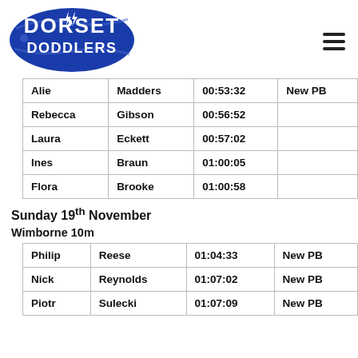[Figure (logo): Dorset Doddlers running club logo - blue banner with white text]
| Alie | Madders | 00:53:32 | New PB |
| Rebecca | Gibson | 00:56:52 |  |
| Laura | Eckett | 00:57:02 |  |
| Ines | Braun | 01:00:05 |  |
| Flora | Brooke | 01:00:58 |  |
Sunday 19th November
Wimborne 10m
| Philip | Reese | 01:04:33 | New PB |
| Nick | Reynolds | 01:07:02 | New PB |
| Piotr | Sulecki | 01:07:09 | New PB |